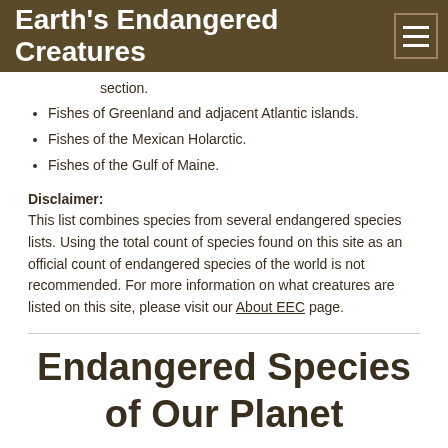Earth's Endangered Creatures
section.
Fishes of Greenland and adjacent Atlantic islands.
Fishes of the Mexican Holarctic.
Fishes of the Gulf of Maine.
Disclaimer: This list combines species from several endangered species lists. Using the total count of species found on this site as an official count of endangered species of the world is not recommended. For more information on what creatures are listed on this site, please visit our About EEC page.
Endangered Species of Our Planet
[Figure (map): Silhouette map showing continents/regions of the world in dark brown color, partially visible at the bottom of the page.]